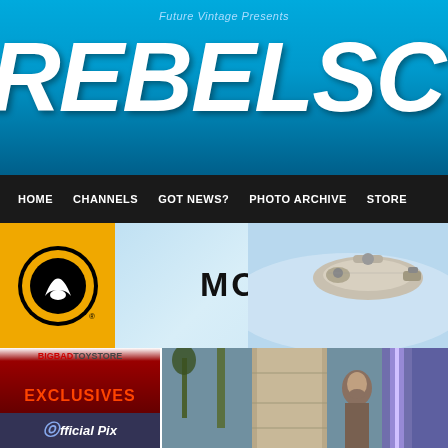Future Vintage Presents REBELSCUM.C
[Figure (screenshot): Navigation bar with HOME, CHANNELS, GOT NEWS?, PHOTO ARCHIVE, STORE]
[Figure (logo): Model Kits banner with Estes rocket logo on orange background and spaceship illustration]
[Figure (photo): BigBadToyStore Exclusives advertisement banner]
[Figure (photo): Official Pix banner]
[Figure (photo): Star Wars scene with lightsaber effect, person and stone structures]